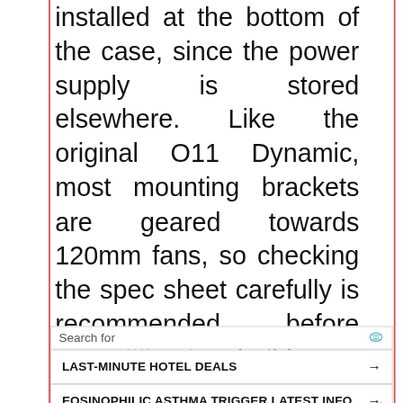installed at the bottom of the case, since the power supply is stored elsewhere. Like the original O11 Dynamic, most mounting brackets are geared towards 120mm fans, so checking the spec sheet carefully is recommended before committing to a build.

Unfortunately, the XL is well past the point of trying to compete on price. The O11 was popular, and
[Figure (screenshot): Advertisement overlay with Yahoo Search bar and two sponsored search result links: 'LAST-MINUTE HOTEL DEALS' and 'EOSINOPHILIC ASTHMA TRIGGER LATEST INFO', with Yahoo! Search | Sponsored footer]